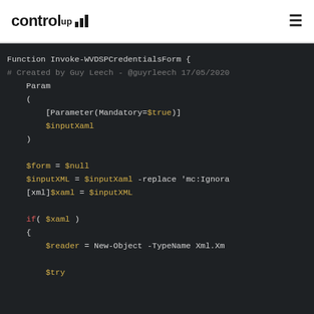controlup (logo with bars) | hamburger menu
[Figure (screenshot): PowerShell code block on dark background showing Function Invoke-WVDSPCredentialsForm with Param block, variable assignments and if statement]